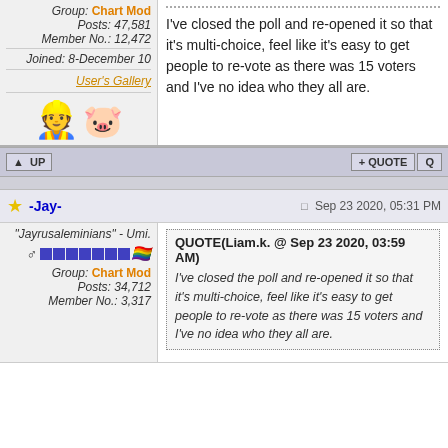Group: Chart Mod
Posts: 47,581
Member No.: 12,472
Joined: 8-December 10
User's Gallery
I've closed the poll and re-opened it so that it's multi-choice, feel like it's easy to get people to re-vote as there was 15 voters and I've no idea who they all are.
UP | + QUOTE
★ -Jay-
Sep 23 2020, 05:31 PM
"Jayrusaleminians" - Umi.
Group: Chart Mod
Posts: 34,712
Member No.: 3,317
QUOTE(Liam.k. @ Sep 23 2020, 03:59 AM)
I've closed the poll and re-opened it so that it's multi-choice, feel like it's easy to get people to re-vote as there was 15 voters and I've no idea who they all are.